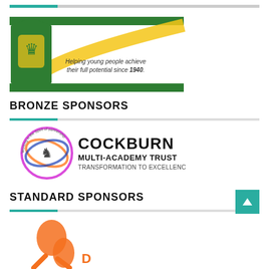[Figure (logo): Boys Pursuit Club logo with green keystone shape, lion crest, green and yellow swoosh design. Text: Helping young people achieve their full potential since 1940.]
BRONZE SPONSORS
[Figure (logo): Cockburn Multi-Academy Trust logo. Circular emblem with Working in the Spirit of Partnership text and lion. COCKBURN MULTI-ACADEMY TRUST TRANSFORMATION TO EXCELLENCE]
STANDARD SPONSORS
[Figure (logo): Partially visible logo with orange kangaroo or animal figure, text partially visible in orange/red.]